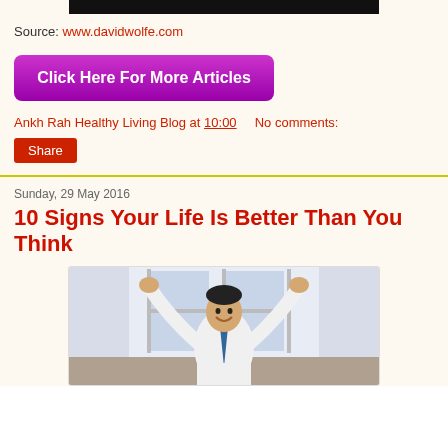[Figure (other): Black bar / banner at top of page]
Source: www.davidwolfe.com
Click Here For More Articles
Ankh Rah Healthy Living Blog at 10:00    No comments:
Share
Sunday, 29 May 2016
10 Signs Your Life Is Better Than You Think
[Figure (photo): Man in white shirt and blue tie celebrating with both fists raised, smiling, in an office/bright background setting]